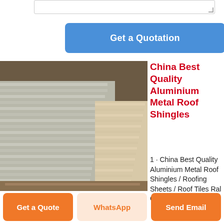[Figure (screenshot): Textarea input box at top of page]
Get a Quotation
[Figure (photo): Stack of aluminium metal roof shingles/sheets in a warehouse setting]
China Best Quality Aluminium Metal Roof Shingles
1 · China Best Quality Aluminium Metal Roof Shingles / Roofing Sheets / Roof Tiles Ral Color Coated 24 26 28
Get a Quote
WhatsApp
Send Email